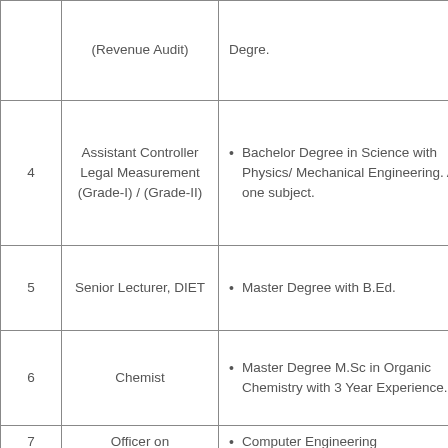| No. | Post | Qualification |
| --- | --- | --- |
|  | (Revenue Audit) | Degre. |
| 4 | Assistant Controller Legal Measurement (Grade-I) / (Grade-II) | Bachelor Degree in Science with Physics/ Mechanical Engineering. As one subject. |
| 5 | Senior Lecturer, DIET | Master Degree with B.Ed. |
| 6 | Chemist | Master Degree M.Sc in Organic Chemistry with 3 Year Experience. |
| 7 | Officer on | Computer Engineering |